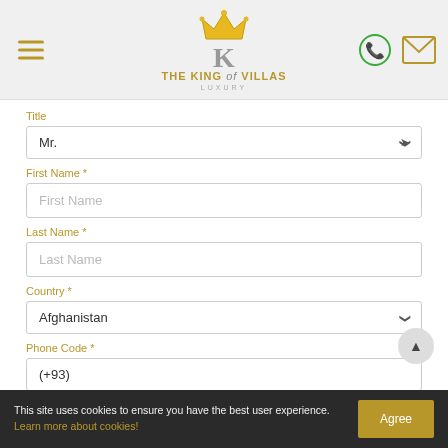[Figure (logo): The King of Villas Luxury logo with crown, stylized K, and golden text]
Title
Mr.
First Name *
First Name
Last Name *
Last Name
Country *
Afghanistan
Phone Code *
(+93)
This site uses cookies to ensure you have the best user experience. Learn more about cookies!
Agree